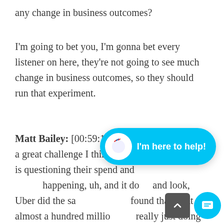any change in business outcomes?
I'm going to bet you, I'm gonna bet every listener on here, they're not going to see much change in business outcomes, so they should run that experiment.
Matt Bailey: [00:59:12] I love it. No, that is a, a great challenge I think, for any marketer who is questioning their spend and questioning what's happening, uh, and it does, and look, Uber did the same thing and found that what almost a hundred million was really just doing nothing.
[Figure (screenshot): Chat widget UI overlay: a cyan rounded-pill button with a hand-wave icon and 'I'm here to help!' text, plus a scroll-to-top dark button and a cyan chat bubble button at the bottom right.]